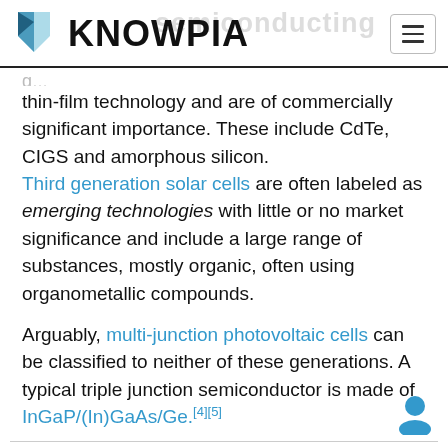KNOWPIA
thin-film technology and are of commercially significant importance. These include CdTe, CIGS and amorphous silicon. Third generation solar cells are often labeled as emerging technologies with little or no market significance and include a large range of substances, mostly organic, often using organometallic compounds.

Arguably, multi-junction photovoltaic cells can be classified to neither of these generations. A typical triple junction semiconductor is made of InGaP/(In)GaAs/Ge.[4][5]
Comparison of technical specifications